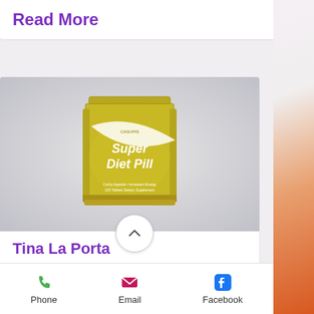Read More
[Figure (photo): A yellow/olive green jar labeled 'Super Diet Pill' with text 'Curbs Appetite • Increases Energy, 100 Tablets, Dietary Supplement' on a gray gradient background]
Tina La Porta
Super Diet Pill
2020, Screenprint on paper , 17 x 14 in
Phone   Email   Facebook